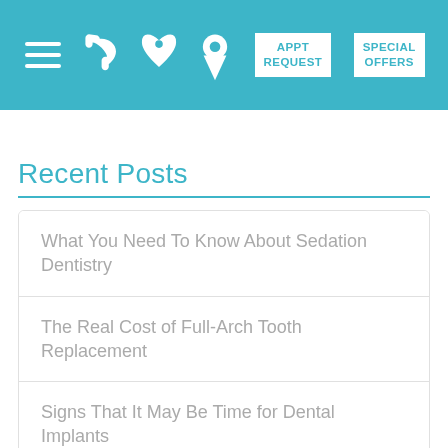[Figure (screenshot): Mobile website navigation bar with teal background. Contains hamburger menu icon, phone icon, location pin icon, 'APPT REQUEST' button, and 'SPECIAL OFFERS' button.]
Recent Posts
What You Need To Know About Sedation Dentistry
The Real Cost of Full-Arch Tooth Replacement
Signs That It May Be Time for Dental Implants
Why you should visit the dentist